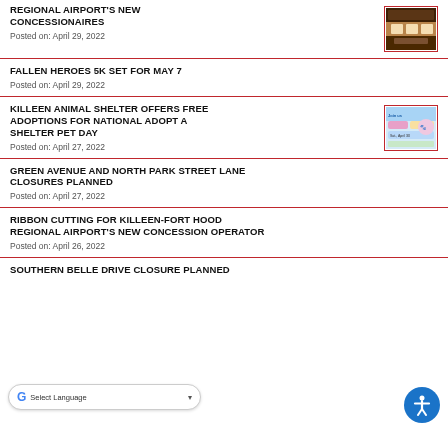REGIONAL AIRPORT'S NEW CONCESSIONAIRES
Posted on: April 29, 2022
[Figure (photo): Thumbnail image of airport concession area - restaurant/food scene]
FALLEN HEROES 5K SET FOR MAY 7
Posted on: April 29, 2022
KILLEEN ANIMAL SHELTER OFFERS FREE ADOPTIONS FOR NATIONAL ADOPT A SHELTER PET DAY
Posted on: April 27, 2022
[Figure (photo): Promotional graphic for National Adopt a Shelter Pet Day at Killeen Animal Shelter - colorful cartoon illustration]
GREEN AVENUE AND NORTH PARK STREET LANE CLOSURES PLANNED
Posted on: April 27, 2022
RIBBON CUTTING FOR KILLEEN-FORT HOOD REGIONAL AIRPORT'S NEW CONCESSION OPERATOR
Posted on: April 26, 2022
SOUTHERN BELLE DRIVE CLOSURE PLANNED